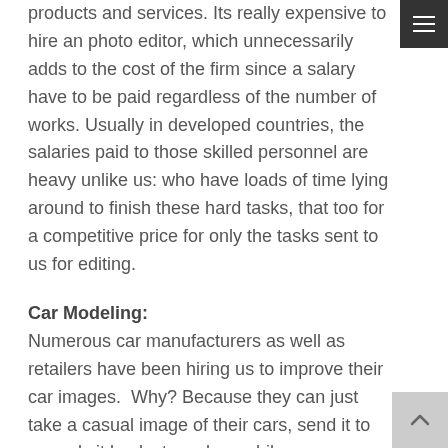products and services. Its really expensive to hire an photo editor, which unnecessarily adds to the cost of the firm since a salary have to be paid regardless of the number of works. Usually in developed countries, the salaries paid to those skilled personnel are heavy unlike us: who have loads of time lying around to finish these hard tasks, that too for a competitive price for only the tasks sent to us for editing.
Car Modeling:
Numerous car manufacturers as well as retailers have been hiring us to improve their car images.  Why? Because they can just take a casual image of their cars, send it to us and sit back stress less while we accomplish the hard tasks for them. Starting from clipping to removing any unwanted backgrounds and just leaving the car in a white background with a touch of shadow underneath gives an